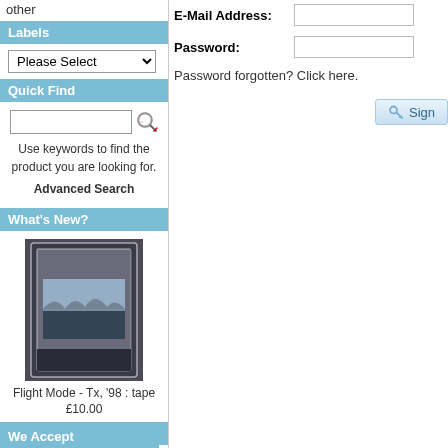other
Labels
Please Select
Quick Find
Use keywords to find the product you are looking for. Advanced Search
What's New?
[Figure (photo): Product photo of a cassette tape case - Flight Mode - Tx, '98 : tape]
Flight Mode - Tx, '98 : tape
£10.00
Information
Shipping & Returns
Privacy Notice
Conditions of Use
Contact Us
We Accept
E-Mail Address:
Password:
Password forgotten? Click here.
Sign